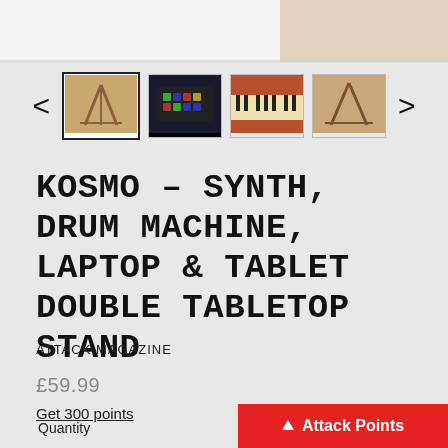[Figure (photo): Top portion of product image (tabletop stand) partially visible at the top of the page]
[Figure (photo): Thumbnail navigation row showing four product thumbnails with left and right navigation arrows. First thumbnail is selected with a border. Thumbnails show wooden stand, keyboard/drum machine, piano keys, and another view of the stand.]
KOSMO - SYNTH, DRUM MACHINE, LAPTOP & TABLET DOUBLE TABLETOP STAND
ATTACK MAGAZINE
£59.99
Get 300 points
Quantity
Attack Points